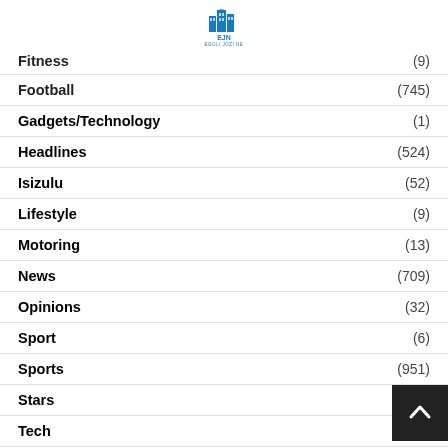EJN EGOLI JOZI NE
Fitness (9)
Football (745)
Gadgets/Technology (1)
Headlines (524)
Isizulu (52)
Lifestyle (9)
Motoring (13)
News (709)
Opinions (32)
Sport (6)
Sports (951)
Stars
Tech
Travel (10)